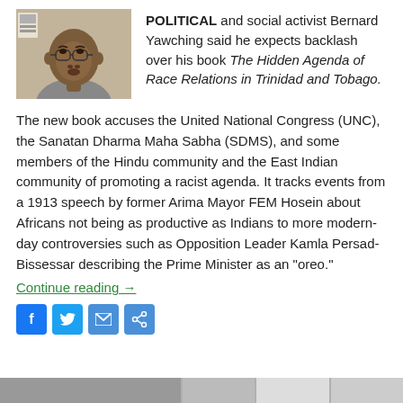[Figure (photo): Headshot photo of Bernard Yawching, a man with glasses wearing a grey shirt, seated indoors]
POLITICAL and social activist Bernard Yawching said he expects backlash over his book The Hidden Agenda of Race Relations in Trinidad and Tobago.
The new book accuses the United National Congress (UNC), the Sanatan Dharma Maha Sabha (SDMS), and some members of the Hindu community and the East Indian community of promoting a racist agenda. It tracks events from a 1913 speech by former Arima Mayor FEM Hosein about Africans not being as productive as Indians to more modern-day controversies such as Opposition Leader Kamla Persad-Bissessar describing the Prime Minister as an “oreo.”
Continue reading →
[Figure (infographic): Social media share icons: Facebook, Twitter, Email, Share]